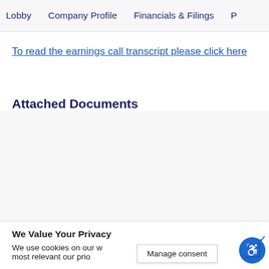Lobby   Company Profile   Financials & Filings   P
To read the earnings call transcript please click here
Attached Documents
We Value Your Privacy
We use cookies on our w...u the most relevant our prio...u ow...
Manage consent